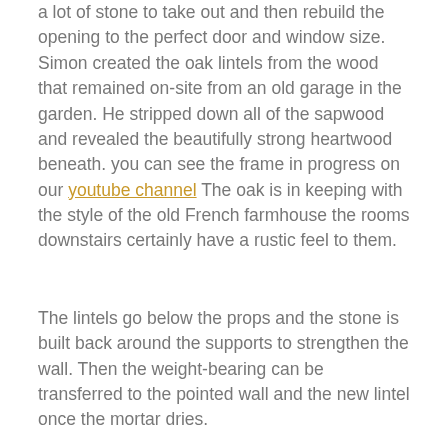a lot of stone to take out and then rebuild the opening to the perfect door and window size. Simon created the oak lintels from the wood that remained on-site from an old garage in the garden. He stripped down all of the sapwood and revealed the beautifully strong heartwood beneath. you can see the frame in progress on our youtube channel The oak is in keeping with the style of the old French farmhouse the rooms downstairs certainly have a rustic feel to them.
The lintels go below the props and the stone is built back around the supports to strengthen the wall. Then the weight-bearing can be transferred to the pointed wall and the new lintel once the mortar dries.